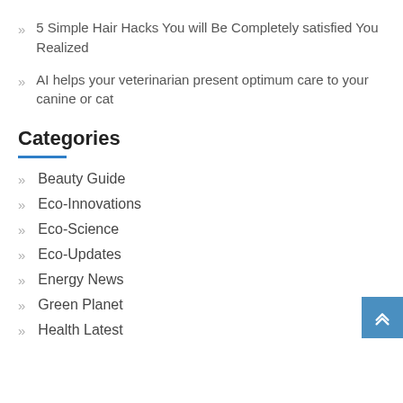5 Simple Hair Hacks You will Be Completely satisfied You Realized
AI helps your veterinarian present optimum care to your canine or cat
Categories
Beauty Guide
Eco-Innovations
Eco-Science
Eco-Updates
Energy News
Green Planet
Health Latest